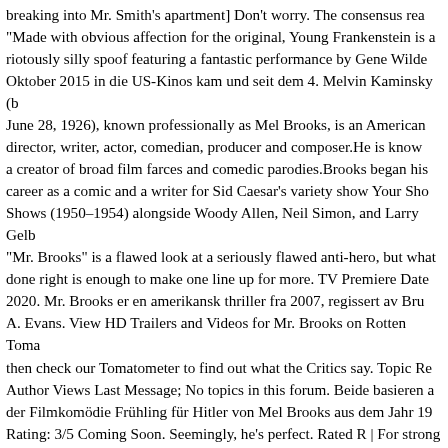breaking into Mr. Smith's apartment] Don't worry. The consensus rea "Made with obvious affection for the original, Young Frankenstein is a riotously silly spoof featuring a fantastic performance by Gene Wilde Oktober 2015 in die US-Kinos kam und seit dem 4. Melvin Kaminsky (b June 28, 1926), known professionally as Mel Brooks, is an American director, writer, actor, comedian, producer and composer.He is know a creator of broad film farces and comedic parodies.Brooks began his career as a comic and a writer for Sid Caesar's variety show Your Sho Shows (1950–1954) alongside Woody Allen, Neil Simon, and Larry Gelb "Mr. Brooks" is a flawed look at a seriously flawed anti-hero, but what done right is enough to make one line up for more. TV Premiere Date 2020. Mr. Brooks er en amerikansk thriller fra 2007, regissert av Bru A. Evans. View HD Trailers and Videos for Mr. Brooks on Rotten Toma then check our Tomatometer to find out what the Critics say. Topic Re Author Views Last Message; No topics in this forum. Beide basieren a der Filmkomödie Frühling für Hitler von Mel Brooks aus dem Jahr 19 Rating: 3/5 Coming Soon. Seemingly, he's perfect. Rated R | For strong bloody violence, some graphic sexual content, nudity and language X. AMC Ticket Confirmation# can be found in your order confirmation e: But Mr. Brooks has a secret -- he is an insatiable serial killer, so letha clever that no one has ever suspected him -- until now. A Rotten Toma oldalán 55%, as eredményt tudhat magéának 153 vélemény alapján.